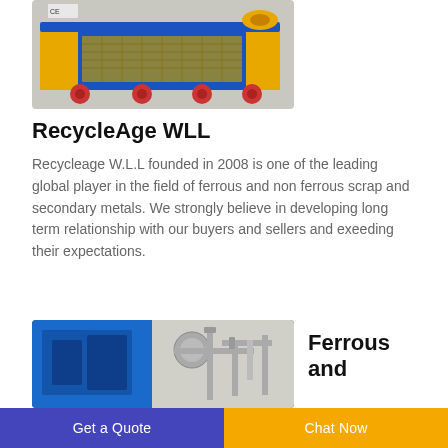[Figure (photo): Industrial recycling machine on wheels, blue and yellow colored, with CE marking, photographed in a warehouse setting]
RecycleAge WLL
Recycleage W.L.L founded in 2008 is one of the leading global player in the field of ferrous and non ferrous scrap and secondary metals. We strongly believe in developing long term relationship with our buyers and sellers and exeeding their expectations.
[Figure (photo): Industrial equipment showing blue machinery and metal piping/tubing in a facility]
Ferrous and
Get a Quote    Chat Now